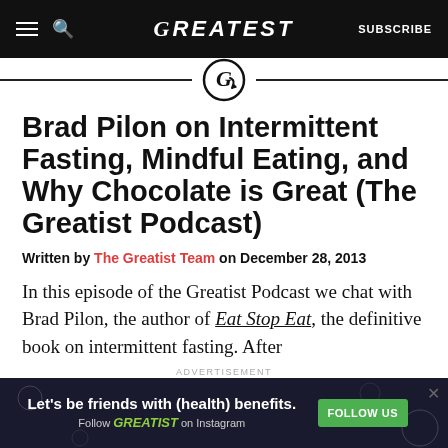GREATIST | SUBSCRIBE
[Figure (logo): Greatist G logo icon with arrow in a circle, used as section divider]
Brad Pilon on Intermittent Fasting, Mindful Eating, and Why Chocolate is Great (The Greatist Podcast)
Written by The Greatist Team on December 28, 2013
In this episode of the Greatist Podcast we chat with Brad Pilon, the author of Eat Stop Eat, the definitive book on intermittent fasting. After
[Figure (screenshot): Advertisement banner: Let's be friends with (health) benefits. Follow GREATIST on Instagram. FOLLOW US button.]